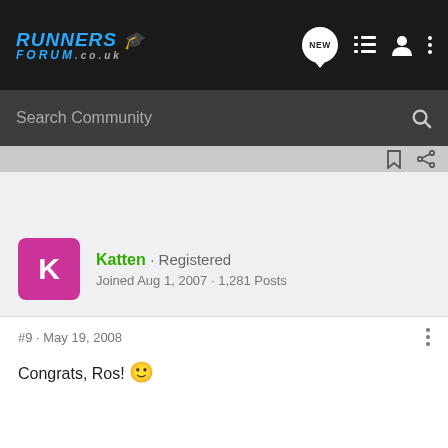Runners Forum .co.uk — Navigation bar with NEW, list, user and menu icons
Search Community
Katten · Registered
Joined Aug 1, 2007 · 1,281 Posts
#9 · May 19, 2008
Congrats, Ros! 🙂